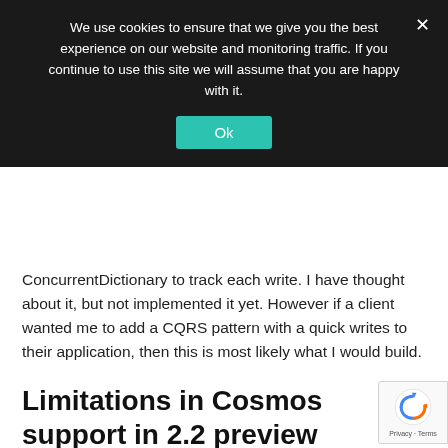We use cookies to ensure that we give you the best experience on our website and monitoring traffic. If you continue to use this site we will assume that you are happy with it.
Ok
ConcurrentDictionary to track each write. I have thought about it, but not implemented it yet. However if a client wanted me to add a CQRS pattern with a quick writes to their application, then this is most likely what I would build.
Limitations in Cosmos support in 2.2 preview
This application was built with EF Core 2.2 and the Microsoft.EntityFrameworkCore.Cosmos package 2.2.0-preview3.35497. This is a very early version of